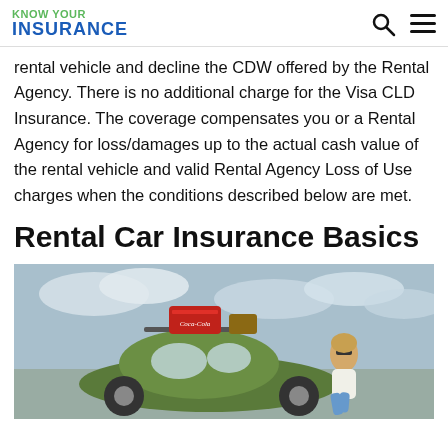KNOW YOUR INSURANCE
rental vehicle and decline the CDW offered by the Rental Agency. There is no additional charge for the Visa CLD Insurance. The coverage compensates you or a Rental Agency for loss/damages up to the actual cash value of the rental vehicle and valid Rental Agency Loss of Use charges when the conditions described below are met.
Rental Car Insurance Basics
[Figure (photo): A woman with sunglasses leaning on a green vintage Volkswagen Beetle car with a red Coca-Cola cooler and luggage on the roof rack, outdoors with a cloudy sky background.]